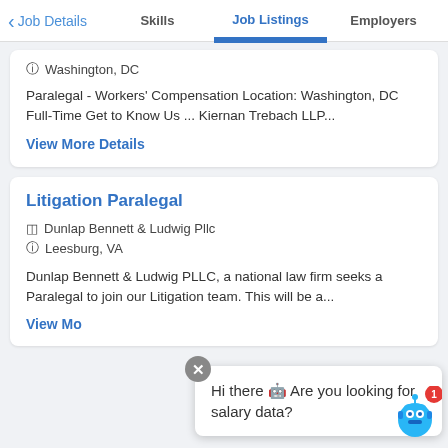< Job Details   Skills   Job Listings   Employers
Washington, DC
Paralegal - Workers' Compensation Location: Washington, DC Full-Time Get to Know Us ... Kiernan Trebach LLP...
View More Details
Litigation Paralegal
Dunlap Bennett & Ludwig Pllc
Leesburg, VA
Dunlap Bennett & Ludwig PLLC, a national law firm seeks a Paralegal to join our Litigation team. This will be a...
View Mo...
Hi there 🤖 Are you looking for salary data?